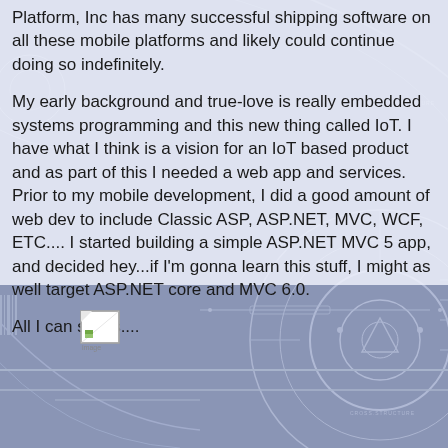Platform, Inc has many successful shipping software on all these mobile platforms and likely could continue doing so indefinitely.
My early background and true-love is really embedded systems programming and this new thing called IoT.  I have what I think is a vision for an IoT based product and as part of this I needed a web app and services.  Prior to my mobile development, I did a good amount of web dev to include Classic ASP, ASP.NET, MVC, WCF, ETC.... I started building a simple ASP.NET MVC 5 app, and decided hey...if I'm gonna learn this stuff, I might as well target ASP.NET core and MVC 6.0.
All I can say is....
[Figure (photo): Small broken/missing image icon placeholder]